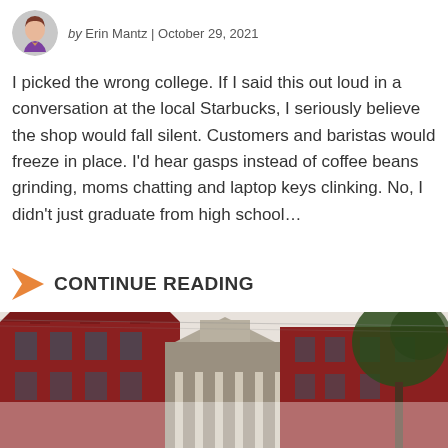by Erin Mantz | October 29, 2021
I picked the wrong college. If I said this out loud in a conversation at the local Starbucks, I seriously believe the shop would fall silent. Customers and baristas would freeze in place. I'd hear gasps instead of coffee beans grinding, moms chatting and laptop keys clinking. No, I didn't just graduate from high school…
CONTINUE READING
[Figure (photo): Exterior photo of a red brick college building with a central ornate entrance, photographed from below looking up; a large tree is visible on the right side against a light sky.]